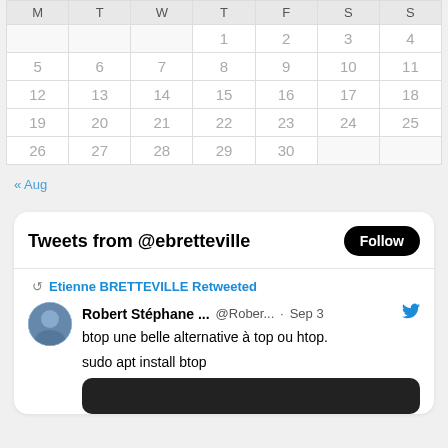| M | T | W | T | F | S | S |
| --- | --- | --- | --- | --- | --- | --- |
|  |  |  | 1 | 2 | 3 | 4 |
| 5 | 6 | 7 | 8 | 9 | 10 | 11 |
| 12 | 13 | 14 | 15 | 16 | 17 | 18 |
| 19 | 20 | 21 | 22 | 23 | 24 | 25 |
| 26 | 27 | 28 | 29 | 30 |  |  |
« Aug
[Figure (screenshot): Embedded Twitter widget showing tweets from @ebretteville with a Follow button, a retweet by Etienne BRETTEVILLE of Robert Stéphane's tweet about btop, a Linux alternative to top or htop, with sudo apt install btop command shown.]